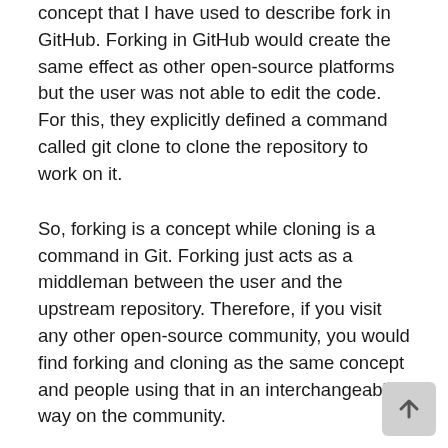concept that I have used to describe fork in GitHub. Forking in GitHub would create the same effect as other open-source platforms but the user was not able to edit the code. For this, they explicitly defined a command called git clone to clone the repository to work on it.
So, forking is a concept while cloning is a command in Git. Forking just acts as a middleman between the user and the upstream repository. Therefore, if you visit any other open-source community, you would find forking and cloning as the same concept and people using that in an interchangeable way on the community.
I hope the cloning and forking concepts are clear and how the process normally flows in Git and GitHub is also understood. Always remember to use these words carefully when the reference is Git. These concepts are of